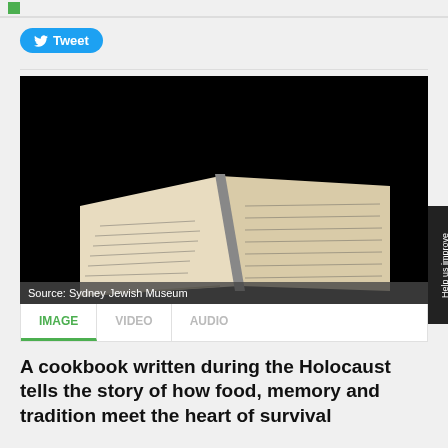[Figure (other): Tweet button with Twitter bird icon]
[Figure (photo): An open handwritten notebook/cookbook photographed against a black background; the pages are yellowed and covered in cursive handwriting. Source: Sydney Jewish Museum]
Source: Sydney Jewish Museum
IMAGE  VIDEO  AUDIO
A cookbook written during the Holocaust tells the story of how food, memory and tradition meet the heart of survival